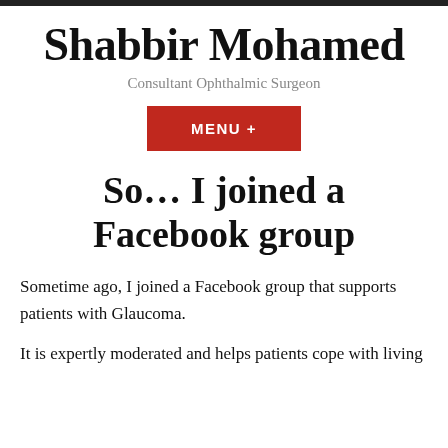Shabbir Mohamed
Consultant Ophthalmic Surgeon
MENU +
So… I joined a Facebook group
Sometime ago, I joined a Facebook group that supports patients with Glaucoma.
It is expertly moderated and helps patients cope with living